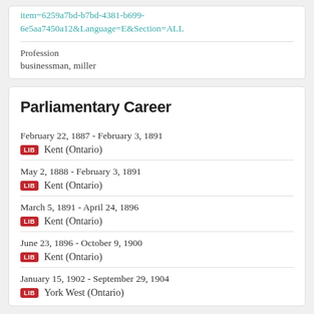item=6259a7bd-b7bd-4381-b699-6e5aa7450a12&Language=E&Section=ALL
Profession
businessman, miller
Parliamentary Career
February 22, 1887 - February 3, 1891 | LIB | Kent (Ontario)
May 2, 1888 - February 3, 1891 | LIB | Kent (Ontario)
March 5, 1891 - April 24, 1896 | LIB | Kent (Ontario)
June 23, 1896 - October 9, 1900 | LIB | Kent (Ontario)
January 15, 1902 - September 29, 1904 | LIB | York West (Ontario)